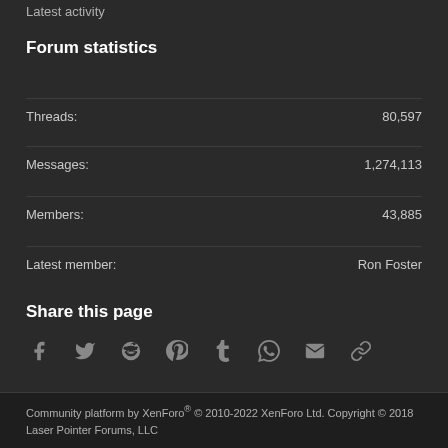Latest activity
Forum statistics
Threads: 80,597
Messages: 1,274,113
Members: 43,885
Latest member: Ron Foster
Share this page
[Figure (infographic): Social media sharing icons: Facebook, Twitter, Reddit, Pinterest, Tumblr, WhatsApp, Email, Link]
Community platform by XenForo® © 2010-2022 XenForo Ltd. Copyright © 2018 Laser Pointer Forums, LLC